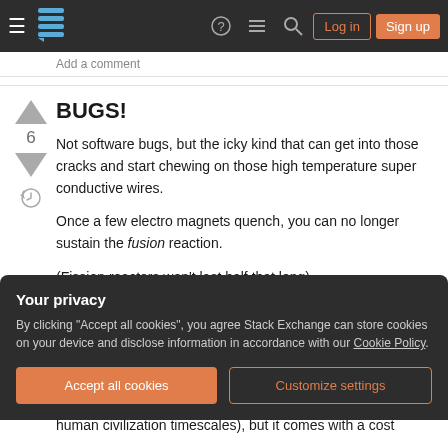Stack Exchange navigation bar with Log in and Sign up buttons
Add a comment
BUGS!
Not software bugs, but the icky kind that can get into those cracks and start chewing on those high temperature super conductive wires.
Once a few electro magnets quench, you can no longer sustain the fusion reaction.
(Fission reactors won't last half that long)
Your privacy
By clicking "Accept all cookies", you agree Stack Exchange can store cookies on your device and disclose information in accordance with our Cookie Policy.
Accept all cookies
Customize settings
human civilization timescales), but it comes with a cost